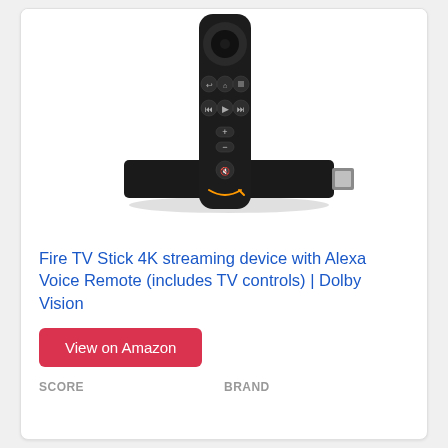[Figure (photo): Amazon Fire TV Stick 4K device with Alexa Voice Remote. The black remote control is shown standing upright in front of the Fire TV Stick dongle, which has an HDMI connector visible on the right side. The remote features a circular navigation ring at the top, directional buttons, playback controls, a volume rocker, and a mute button. An Amazon smile logo is visible at the bottom of the remote.]
Fire TV Stick 4K streaming device with Alexa Voice Remote (includes TV controls) | Dolby Vision
View on Amazon
SCORE
Brand